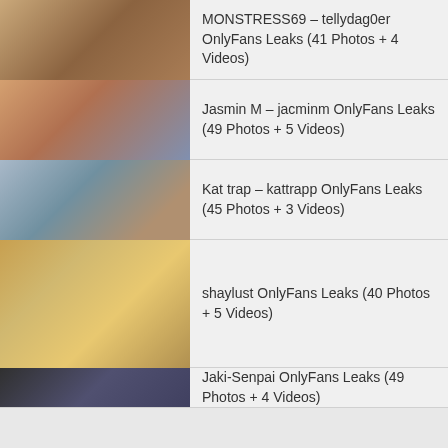MONSTRESS69 – tellydag0er OnlyFans Leaks (41 Photos + 4 Videos)
Jasmin M – jacminm OnlyFans Leaks (49 Photos + 5 Videos)
Kat trap – kattrapp OnlyFans Leaks (45 Photos + 3 Videos)
shaylust OnlyFans Leaks (40 Photos + 5 Videos)
Jaki-Senpai OnlyFans Leaks (49 Photos + 4 Videos)